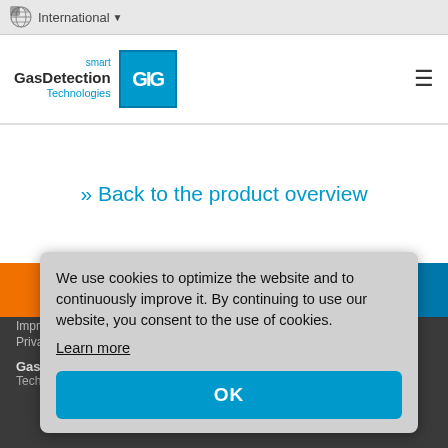International
[Figure (logo): smart GasDetection Technologies GIG logo]
» Back to the product overview
We use cookies to optimize the website and to continuously improve it. By continuing to use our website, you consent to the use of cookies.
Learn more
OK
Impri...
Privac...
GasDe...
Tech...